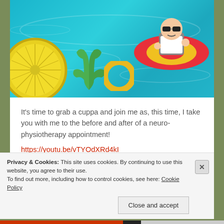[Figure (illustration): Cartoon illustration of a pool scene with teal/blue water. A bald cartoon character wearing sunglasses relaxes on a pink and yellow inflatable float mat. A yellow lemon slice float, a green cactus splash, and a yellow ring float are also visible in the pool water.]
It's time to grab a cuppa and join me as, this time, I take you with me to the before and after of a neuro-physiotherapy appointment!
https://youtu.be/vTYOdXRd4kI
Privacy & Cookies: This site uses cookies. By continuing to use this website, you agree to their use.
To find out more, including how to control cookies, see here: Cookie Policy
Close and accept